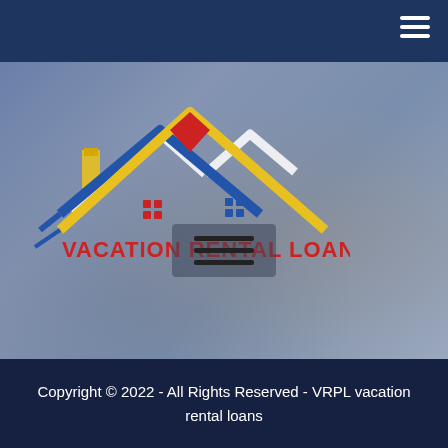Navigation bar with hamburger menu icon
[Figure (logo): Vacation Rental Loans logo — stylized house rooflines in blue, yellow, red, and white with chimney and windows, text 'VACATION RENTAL LOANS' in red below]
[Figure (other): Hamburger menu icon (three horizontal lines) centered on hero image area]
Copyright © 2022 - All Rights Reserved - VRPL vacation rental loans